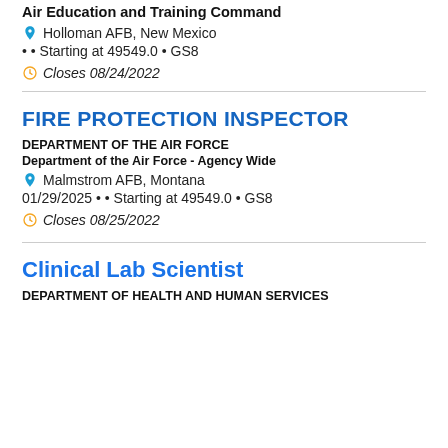Air Education and Training Command
Holloman AFB, New Mexico
• • Starting at 49549.0 • GS8
Closes 08/24/2022
FIRE PROTECTION INSPECTOR
DEPARTMENT OF THE AIR FORCE
Department of the Air Force - Agency Wide
Malmstrom AFB, Montana
01/29/2025 • • Starting at 49549.0 • GS8
Closes 08/25/2022
Clinical Lab Scientist
DEPARTMENT OF HEALTH AND HUMAN SERVICES